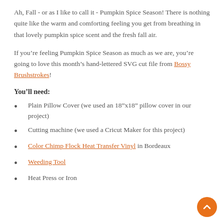Ah, Fall - or as I like to call it - Pumpkin Spice Season! There is nothing quite like the warm and comforting feeling you get from breathing in that lovely pumpkin spice scent and the fresh fall air.
If you’re feeling Pumpkin Spice Season as much as we are, you’re going to love this month’s hand-lettered SVG cut file from Bossy Brushstrokes!
You’ll need:
Plain Pillow Cover (we used an 18”x18” pillow cover in our project)
Cutting machine (we used a Cricut Maker for this project)
Color Chimp Flock Heat Transfer Vinyl in Bordeaux
Weeding Tool
Heat Press or Iron